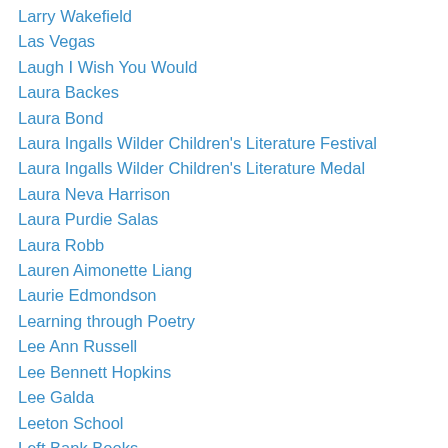Larry Wakefield
Las Vegas
Laugh I Wish You Would
Laura Backes
Laura Bond
Laura Ingalls Wilder Children's Literature Festival
Laura Ingalls Wilder Children's Literature Medal
Laura Neva Harrison
Laura Purdie Salas
Laura Robb
Lauren Aimonette Liang
Laurie Edmondson
Learning through Poetry
Lee Ann Russell
Lee Bennett Hopkins
Lee Galda
Leeton School
Left Bank Books
Leslie Bulion
Leslie Wyatt